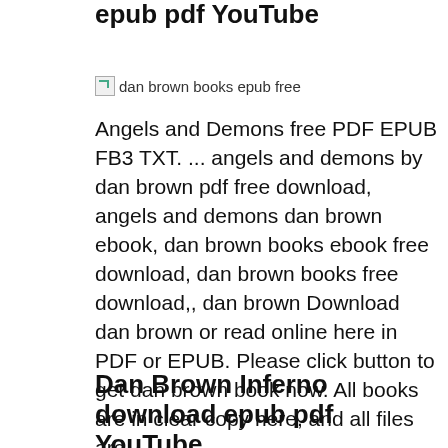epub pdf YouTube
[Figure (other): Broken image placeholder with alt text 'dan brown books epub free']
Angels and Demons free PDF EPUB FB3 TXT. ... angels and demons by dan brown pdf free download, angels and demons dan brown ebook, dan brown books ebook free download, dan brown books free download,, dan brown Download dan brown or read online here in PDF or EPUB. Please click button to get dan brown book now. All books are in clear copy here, and all files are.
Dan Brown Inferno download epub pdf YouTube